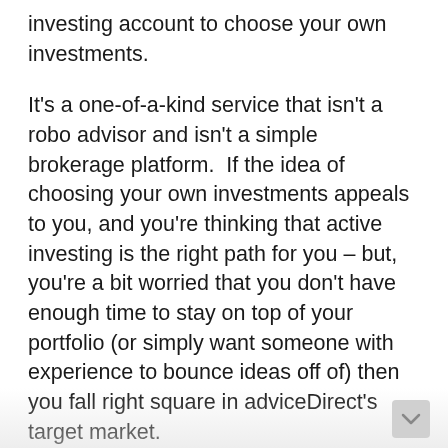investing account to choose your own investments.
It's a one-of-a-kind service that isn't a robo advisor and isn't a simple brokerage platform.  If the idea of choosing your own investments appeals to you, and you're thinking that active investing is the right path for you – but, you're a bit worried that you don't have enough time to stay on top of your portfolio (or simply want someone with experience to bounce ideas off of) then you fall right square in adviceDirect's target market.
If you're simply looking to cut costs to the absolute bone and keep life simple with a passively indexed ETF strategy